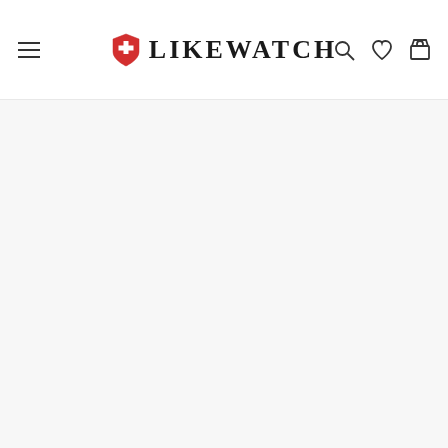[Figure (screenshot): LIKEWATCH website header/navigation bar with hamburger menu on left, LIKEWATCH logo with Swiss cross shield in center, and search, wishlist, and cart icons on right. Below is a light gray empty content area.]